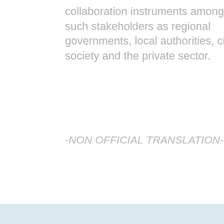collaboration instruments amongst such stakeholders as regional governments, local authorities, civil society and the private sector.
-NON OFFICIAL TRANSLATION-